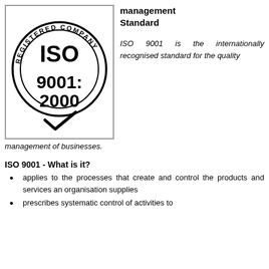[Figure (logo): ISO 9001:2000 Registered Company circular stamp logo with checkmark]
management Standard
ISO 9001 is the internationally recognised standard for the quality management of businesses.
ISO 9001 - What is it?
applies to the processes that create and control the products and services an organisation supplies
prescribes systematic control of activities to